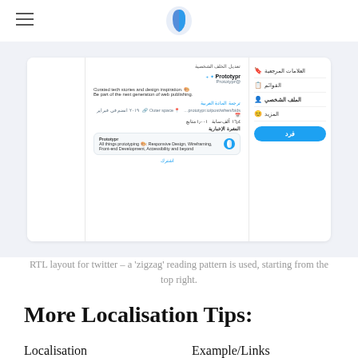Prototypr logo and hamburger menu
[Figure (screenshot): Twitter profile page shown in RTL (Arabic) layout, with the Prototypr profile, Arabic navigation sidebar on right, follow button, and newsletter subscription box.]
RTL layout for twitter – a 'zigzag' reading pattern is used, starting from the top right.
More Localisation Tips:
Localisation
Example/Links